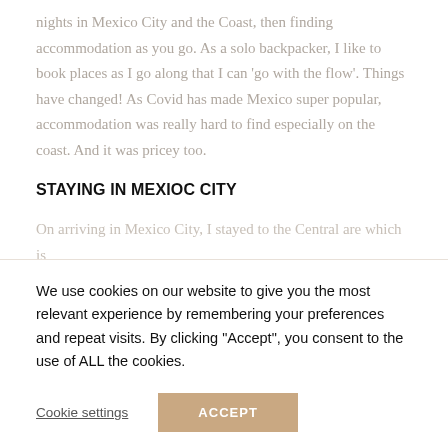nights in Mexico City and the Coast, then finding accommodation as you go. As a solo backpacker, I like to book places as I go along that I can 'go with the flow'. Things have changed! As Covid has made Mexico super popular, accommodation was really hard to find especially on the coast. And it was pricey too.
STAYING IN MEXIOC CITY
On arriving in Mexico City, I stayed to the Central are which is
We use cookies on our website to give you the most relevant experience by remembering your preferences and repeat visits. By clicking "Accept", you consent to the use of ALL the cookies.